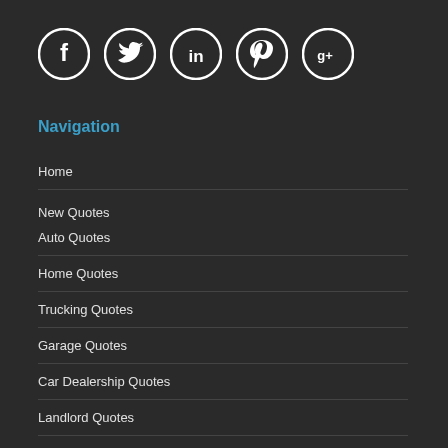[Figure (illustration): Five social media icons in white circles on dark background: Facebook (f), Twitter (bird), LinkedIn (in), Pinterest (p), Google+ (g+)]
Navigation
Home
New Quotes
Auto Quotes
Home Quotes
Trucking Quotes
Garage Quotes
Car Dealership Quotes
Landlord Quotes